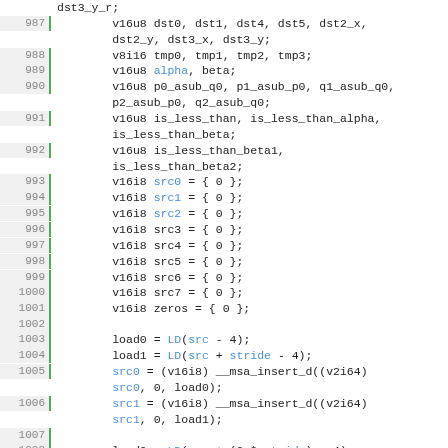Source code listing, lines 987-1012, showing SIMD/MSA vector operations in C.